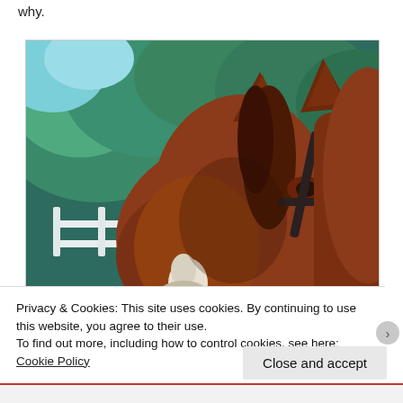why.
[Figure (photo): Close-up photograph of a chestnut horse's face and ears from behind/side, showing a bridle with a buckle, white blaze on nose, with green trees and white fence in background.]
Privacy & Cookies: This site uses cookies. By continuing to use this website, you agree to their use.
To find out more, including how to control cookies, see here: Cookie Policy
Close and accept